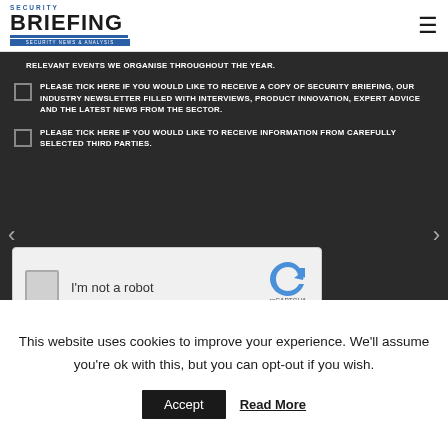SECURITY BRIEFING — SECURITY NEWS & ANALYSIS
RELEVANT EVENTS WE ORGANISE THROUGHOUT THE YEAR.
PLEASE TICK HERE IF YOU WOULD LIKE TO RECEIVE A COPY OF SECURITY BRIEFING, OUR INDUSTRY NEWSLETTER FILLED WITH INTERVIEWS, PRODUCT INNOVATION, EXPERT ADVICE AND THE LATEST NEWS FROM THE SECTOR.
PLEASE TICK HERE IF YOU WOULD LIKE TO RECEIVE INFORMATION FROM CAREFULLY SELECTED THIRD PARTIES.
[Figure (screenshot): reCAPTCHA widget showing checkbox and 'I'm not a robot' label with reCAPTCHA logo, Privacy and Terms links]
This website uses cookies to improve your experience. We'll assume you're ok with this, but you can opt-out if you wish.
Accept   Read More